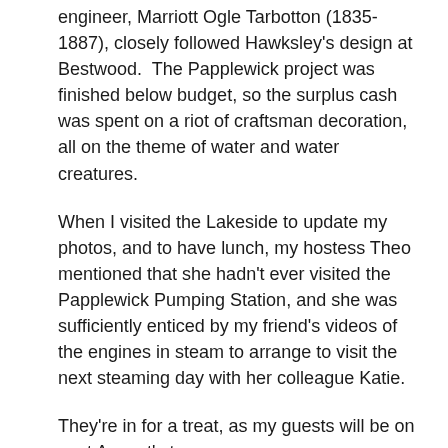engineer, Marriott Ogle Tarbotton (1835-1887), closely followed Hawksley's design at Bestwood.  The Papplewick project was finished below budget, so the surplus cash was spent on a riot of craftsman decoration, all on the theme of water and water creatures.
When I visited the Lakeside to update my photos, and to have lunch, my hostess Theo mentioned that she hadn't ever visited the Papplewick Pumping Station, and she was sufficiently enticed by my friend's videos of the engines in steam to arrange to visit the next steaming day with her colleague Katie.
They're in for a treat, as my guests will be on next August's tour.
To walk through the imposing front door of Bestwood Pumping for an excellent lunch, and then to drive over to Papplewick and walk through a very similar front door to